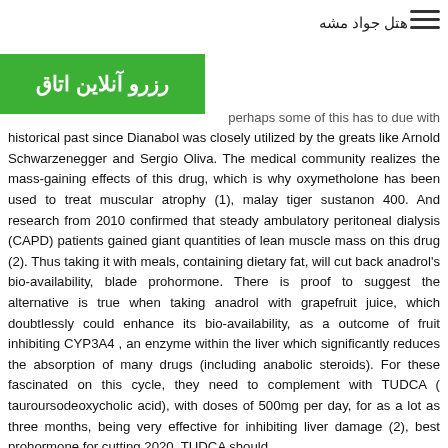هتل جواد مشه
[Figure (other): Green button with Arabic/Persian text: رزرو آنلاین اتاق]
perhaps some of this has to due with historical past since Dianabol was closely utilized by the greats like Arnold Schwarzenegger and Sergio Oliva. The medical community realizes the mass-gaining effects of this drug, which is why oxymetholone has been used to treat muscular atrophy (1), malay tiger sustanon 400. And research from 2010 confirmed that steady ambulatory peritoneal dialysis (CAPD) patients gained giant quantities of lean muscle mass on this drug (2). Thus taking it with meals, containing dietary fat, will cut back anadrol's bio-availability, blade prohormone. There is proof to suggest the alternative is true when taking anadrol with grapefruit juice, which doubtlessly could enhance its bio-availability, as a outcome of fruit inhibiting CYP3A4 , an enzyme within the liver which significantly reduces the absorption of many drugs (including anabolic steroids). For these fascinated on this cycle, they need to complement with TUDCA ( tauroursodeoxycholic acid), with doses of 500mg per day, for as a lot as three months, being very effective for inhibiting liver damage (2), best prohormone for cutting 2020. TUDCA should